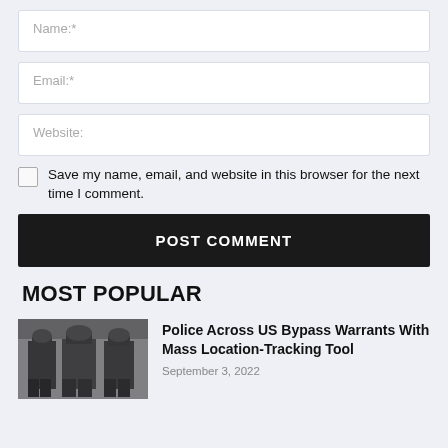Name:*
Email:*
Website:
Save my name, email, and website in this browser for the next time I comment.
POST COMMENT
MOST POPULAR
[Figure (photo): Police officers in uniform from behind, standing together on a street]
Police Across US Bypass Warrants With Mass Location-Tracking Tool
September 3, 2022